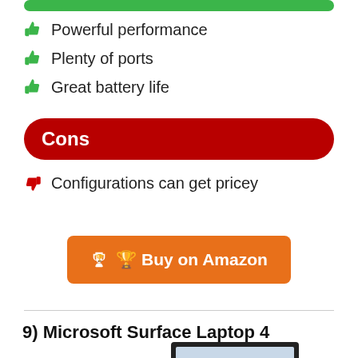Powerful performance
Plenty of ports
Great battery life
Cons
Configurations can get pricey
Buy on Amazon
9) Microsoft Surface Laptop 4
[Figure (photo): Partial view of Microsoft Surface Laptop 4 screen and keyboard]